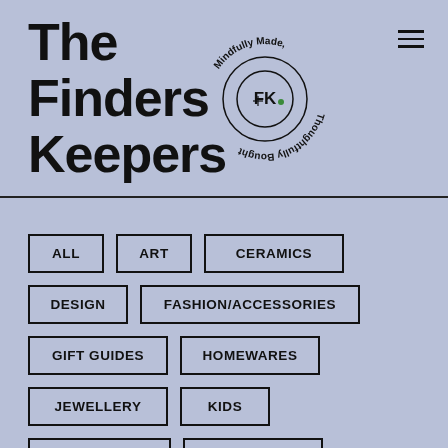The Finders Keepers
[Figure (logo): Circular logo with FK monogram in center and text 'Mindfully Made, Thoughtfully Bought' around the circle]
ALL
ART
CERAMICS
DESIGN
FASHION/ACCESSORIES
GIFT GUIDES
HOMEWARES
JEWELLERY
KIDS
PUBLICATIONS
RESOURCES